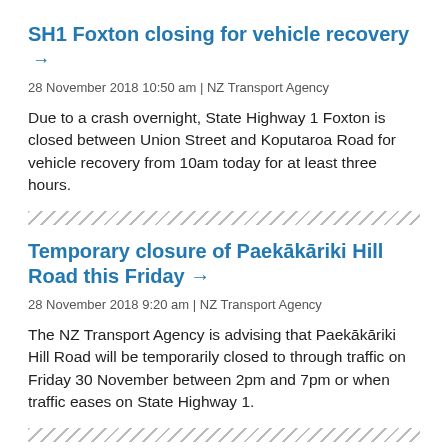SH1 Foxton closing for vehicle recovery →
28 November 2018 10:50 am | NZ Transport Agency
Due to a crash overnight, State Highway 1 Foxton is closed between Union Street and Koputaroa Road for vehicle recovery from 10am today for at least three hours.
Temporary closure of Paekākāriki Hill Road this Friday →
28 November 2018 9:20 am | NZ Transport Agency
The NZ Transport Agency is advising that Paekākāriki Hill Road will be temporarily closed to through traffic on Friday 30 November between 2pm and 7pm or when traffic eases on State Highway 1.